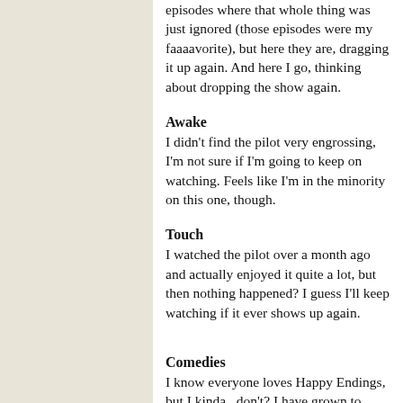episodes where that whole thing was just ignored (those episodes were my faaaavorite), but here they are, dragging it up again. And here I go, thinking about dropping the show again.
Awake
I didn't find the pilot very engrossing, I'm not sure if I'm going to keep on watching. Feels like I'm in the minority on this one, though.
Touch
I watched the pilot over a month ago and actually enjoyed it quite a lot, but then nothing happened? I guess I'll keep watching if it ever shows up again.
Comedies
I know everyone loves Happy Endings, but I kinda...don't? I have grown to really love Alex, though. And the show